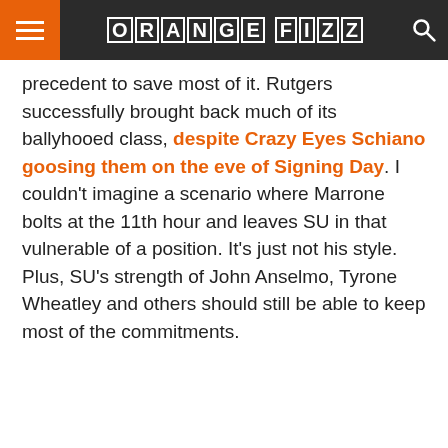ORANGE FIZZ
precedent to save most of it. Rutgers successfully brought back much of its ballyhooed class, despite Crazy Eyes Schiano goosing them on the eve of Signing Day. I couldn't imagine a scenario where Marrone bolts at the 11th hour and leaves SU in that vulnerable of a position. It's just not his style. Plus, SU's strength of John Anselmo, Tyrone Wheatley and others should still be able to keep most of the commitments.